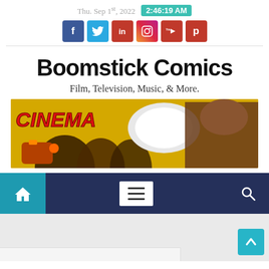Thu. Sep 1st, 2022  2:46:19 AM
[Figure (other): Social media icons: Facebook, Twitter, LinkedIn, Instagram, YouTube, Pinterest]
Boomstick Comics
Film, Television, Music, & More.
[Figure (photo): Banner image with CINEMA text, megaphone, people crowd, film camera on yellow background]
[Figure (other): Navigation bar with home icon, hamburger menu, and search icon on dark navy background]